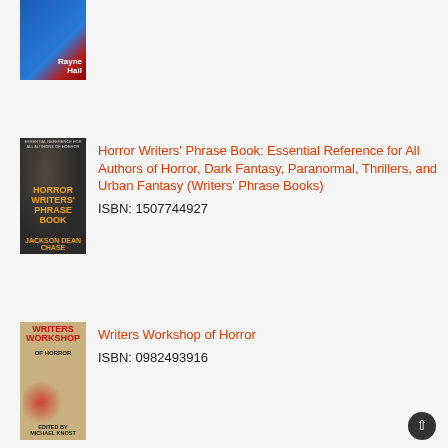[Figure (photo): Partial book cover by Rayne Hall, blue cover with red elements, partially cut off at top]
[Figure (photo): Horror Writers' Phrase Book cover by Jackson Dean Chase, dark background with woman screaming and orange horror title text]
Horror Writers' Phrase Book: Essential Reference for All Authors of Horror, Dark Fantasy, Paranormal, Thrillers, and Urban Fantasy (Writers' Phrase Books)
ISBN: 1507744927
[Figure (photo): Writers Workshop of Horror book cover, beige/tan background with red text title and blood splatter imagery, edited by Michael Knost]
Writers Workshop of Horror
ISBN: 0982493916